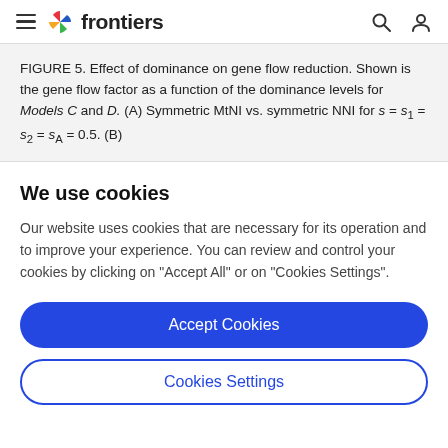frontiers
FIGURE 5. Effect of dominance on gene flow reduction. Shown is the gene flow factor as a function of the dominance levels for Models C and D. (A) Symmetric MtNI vs. symmetric NNI for s = s1 = s2 = sA = 0.5. (B)
We use cookies
Our website uses cookies that are necessary for its operation and to improve your experience. You can review and control your cookies by clicking on "Accept All" or on "Cookies Settings".
Accept Cookies
Cookies Settings